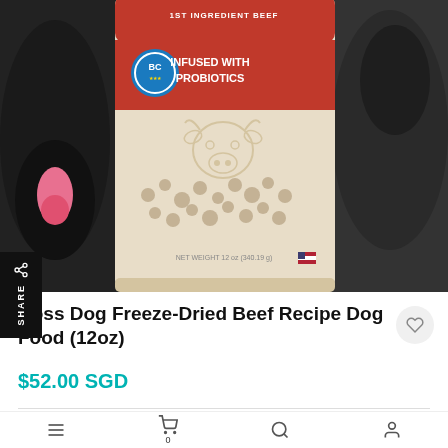[Figure (photo): Boss Dog Freeze-Dried Beef Recipe dog food package (12oz), showing the product bag with 'Infused with Probiotics' label, a cow illustration, and dogs on the sides of the packaging. The bag shows small freeze-dried pieces inside.]
Boss Dog Freeze-Dried Beef Recipe Dog Food (12oz)
$52.00 SGD
Boss Dog® Brand Freeze Dried Raw Diet is an easy way to provide your pet with optimal nutrition with the added benefits of probiotics!We believe offering contain raw food products